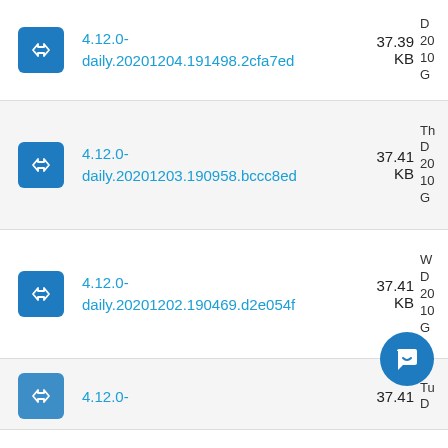4.12.0-daily.20201204.191498.2cfa7ed 37.39 KB D 20 10 G
4.12.0-daily.20201203.190958.bccc8ed 37.41 KB Th D 20 10 G
4.12.0-daily.20201202.190469.d2e054f 37.41 KB W D 20 10 G
4.12.0- 37.41 Tu D